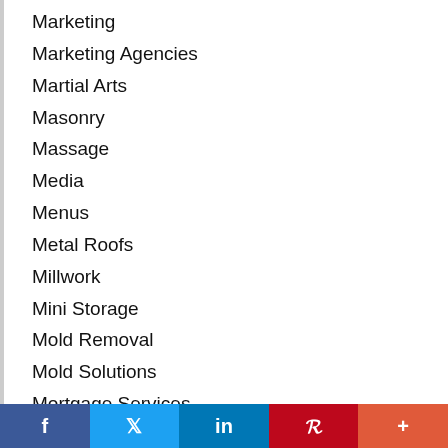Marketing
Marketing Agencies
Martial Arts
Masonry
Massage
Media
Menus
Metal Roofs
Millwork
Mini Storage
Mold Removal
Mold Solutions
Mortgage Services
Movers